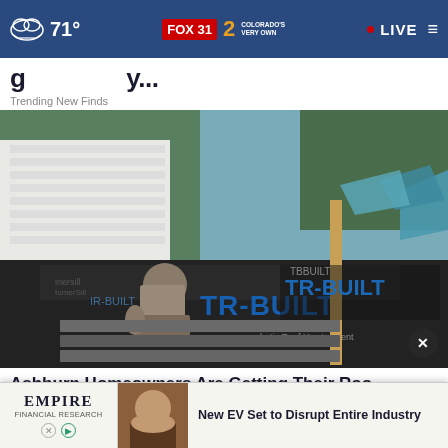71° | FOX 31 2 COLORADO'S VERY OWN | LIVE
Trending New Finds
[Figure (photo): Roofing worker installing shingles on a residential roof with TR-Built synthetic roof underlayment visible]
Ashburn Homeowners Are Getting Their Roof Rep...
Smart Consumer Update
[Figure (infographic): Advertisement banner for Empire Financial Research: New EV Set to Disrupt Entire Industry, showing a man's photo thumbnail]